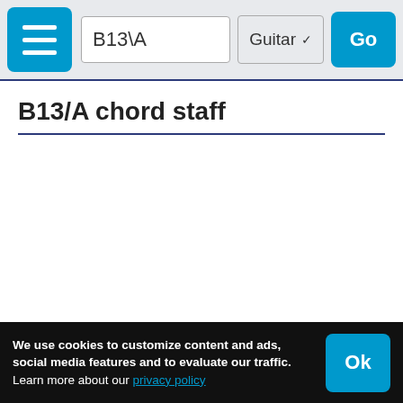B13\A | Guitar | Go
B13/A chord staff
We use cookies to customize content and ads, social media features and to evaluate our traffic. Learn more about our privacy policy